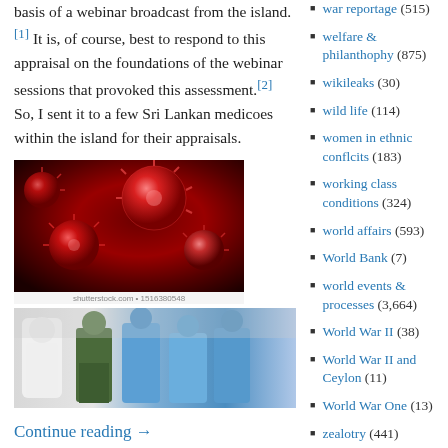basis of a webinar broadcast from the island.[1] It is, of course, best to respond to this appraisal on the foundations of the webinar sessions that provoked this assessment.[2] So, I sent it to a few Sri Lankan medicoes within the island for their appraisals.
[Figure (photo): Close-up image of coronavirus particles, red spherical virus cells with spike proteins on dark red background]
[Figure (photo): Medical workers in PPE protective suits and blue scrubs, with a military officer in green uniform, appearing to carry or transport something]
Continue reading →
Share this:
war reportage (515)
welfare & philanthophy (875)
wikileaks (30)
wild life (114)
women in ethnic conflcits (183)
working class conditions (324)
world affairs (593)
World Bank (7)
world events & processes (3,664)
World War II (38)
World War II and Ceylon (11)
World War One (13)
zealotry (441)
Zen at war (12)